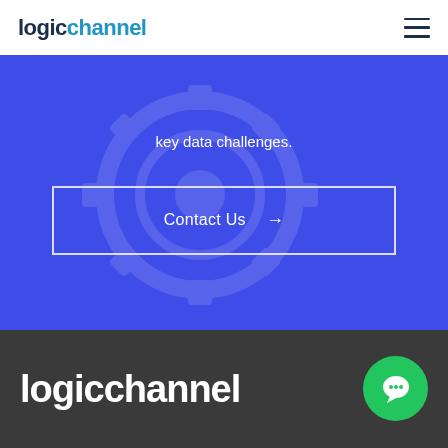[Figure (logo): logichannel logo in dark blue and cyan colors]
key data challenges.
Contact Us →
[Figure (logo): logichannel logo in white on dark background]
[Figure (illustration): Green circular chat bubble button in bottom right]